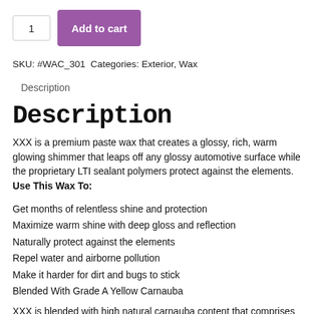1  Add to cart
SKU: #WAC_301  Categories: Exterior, Wax
Description
Description
XXX is a premium paste wax that creates a glossy, rich, warm glowing shimmer that leaps off any glossy automotive surface while the proprietary LTI sealant polymers protect against the elements. Use This Wax To:
Get months of relentless shine and protection
Maximize warm shine with deep gloss and reflection
Naturally protect against the elements
Repel water and airborne pollution
Make it harder for dirt and bugs to stick
Blended With Grade A Yellow Carnauba
XXX is blended with high natural carnauba content that comprises almost half of every pot, and ensures a brilliant shine with immense clarity, depth, and warm glowing shine in the reflection. Specialty